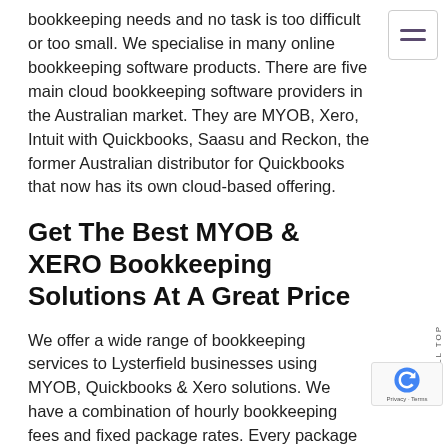bookkeeping needs and no task is too difficult or too small. We specialise in many online bookkeeping software products. There are five main cloud bookkeeping software providers in the Australian market. They are MYOB, Xero, Intuit with Quickbooks, Saasu and Reckon, the former Australian distributor for Quickbooks that now has its own cloud-based offering.
Get The Best MYOB & XERO Bookkeeping Solutions At A Great Price
We offer a wide range of bookkeeping services to Lysterfield businesses using MYOB, Quickbooks & Xero solutions. We have a combination of hourly bookkeeping fees and fixed package rates. Every package though is tailored to suit your needs and we will consult with your business to understand which business solutions are right for you and your books. We can also offer a subscription service once we have a good grasp of your file.